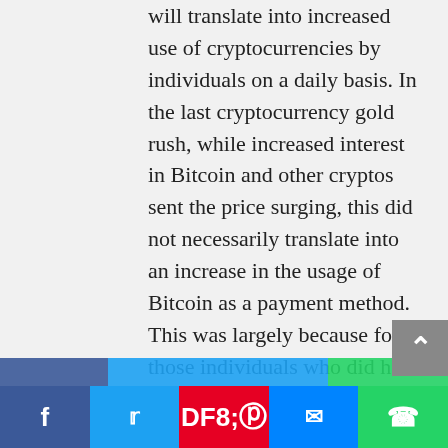will translate into increased use of cryptocurrencies by individuals on a daily basis. In the last cryptocurrency gold rush, while increased interest in Bitcoin and other cryptos sent the price surging, this did not necessarily translate into an increase in the usage of Bitcoin as a payment method. This was largely because for those individuals who did hold an amount of Bitcoin, for example, price volatility made them reluctant to part ways with it in case it either fell in value, leaving them out of pocket, or rose in value, which would see them miss out on an investment opportunity. https://pracownikwfirmie.pl/community/profile/flossi If you are on a personal connection, like at home, you can anti-virus s ur
[Figure (other): Social media share bar with Facebook, Twitter, Pinterest, Messenger, and WhatsApp buttons]